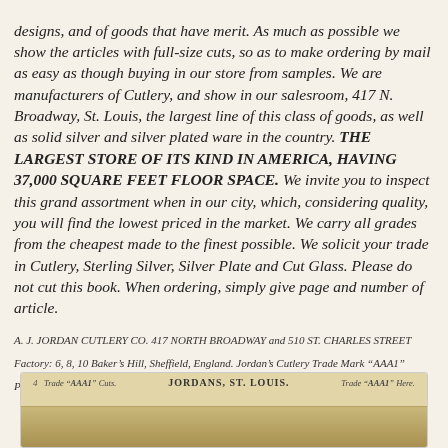designs, and of goods that have merit. As much as possible we show the articles with full-size cuts, so as to make ordering by mail as easy as though buying in our store from samples. We are manufacturers of Cutlery, and show in our salesroom, 417 N. Broadway, St. Louis, the largest line of this class of goods, as well as solid silver and silver plated ware in the country. THE LARGEST STORE OF ITS KIND IN AMERICA, HAVING 37,000 SQUARE FEET FLOOR SPACE. We invite you to inspect this grand assortment when in our city, which, considering quality, you will find the lowest priced in the market. We carry all grades from the cheapest made to the finest possible. We solicit your trade in Cutlery, Sterling Silver, Silver Plate and Cut Glass. Please do not cut this book. When ordering, simply give page and number of article.
A. J. JORDAN CUTLERY CO. 417 NORTH BROADWAY and 510 ST. CHARLES STREET
Factory: 6, 8, 10 Baker's Hill, Sheffield, England. Jordan's Cutlery Trade Mark "AAA1"
Printed By A. R. FLEMING PRINTING CO., ST. LOUIS MO
[Figure (other): A scanned page from Jordan's Cutlery catalog showing header with page number 4, 'Trade AAA1 Cuts' on the left, 'JORDANS, ST. LOUIS.' in the center, and 'Trade AAA1 Here.' on the right, with an aged brownish-gold background suggesting a historical document.]